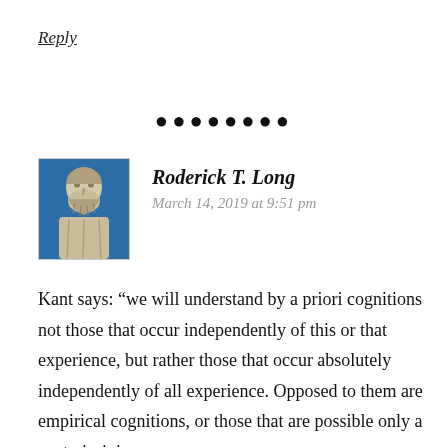Reply
••••••••
Roderick T. Long
March 14, 2019 at 9:51 pm
[Figure (illustration): Avatar image of a classical Greek or Roman statue of a bearded man against a blue background]
Kant says: “we will understand by a priori cognitions not those that occur independently of this or that experience, but rather those that occur absolutely independently of all experience. Opposed to them are empirical cognitions, or those that are possible only a posteriori, i.e.,